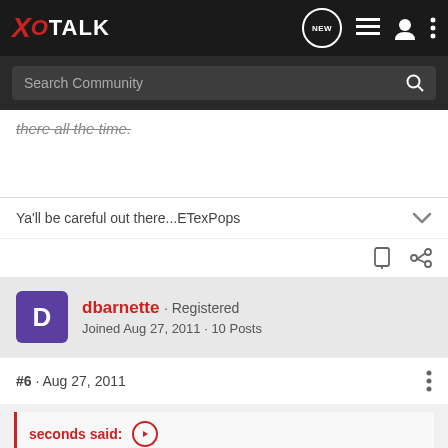XOTALK
there all the time.
Ya'll be careful out there...ETexPops
dbarnette · Registered
Joined Aug 27, 2011 · 10 Posts
#6 · Aug 27, 2011
seconds said: